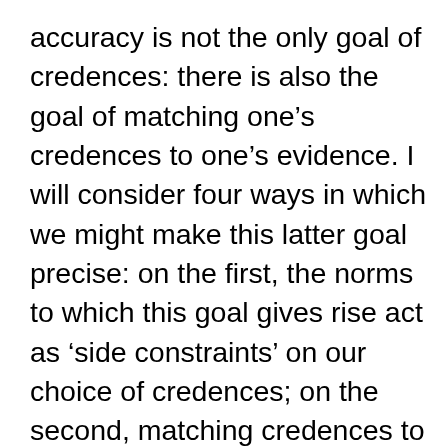accuracy is not the only goal of credences: there is also the goal of matching one’s credences to one’s evidence. I will consider four ways in which we might make this latter goal precise: on the first, the norms to which this goal gives rise act as ‘side constraints’ on our choice of credences; on the second, matching credences to evidence is a goal that is weighed against accuracy to give the overall cognitive value of credences; on the third, as on the second, proximity to the evidential goal and proximity to the goal of accuracy are both sources of value, but this time they are incomparable; on the fourth, the evidential goal is not an independent goal at all, but rather a byproduct of the goal of accuracy. All but the fourth are fashi the evidential domain...